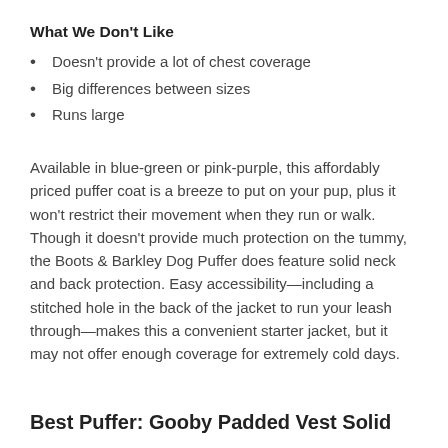What We Don't Like
Doesn't provide a lot of chest coverage
Big differences between sizes
Runs large
Available in blue-green or pink-purple, this affordably priced puffer coat is a breeze to put on your pup, plus it won't restrict their movement when they run or walk. Though it doesn't provide much protection on the tummy, the Boots & Barkley Dog Puffer does feature solid neck and back protection. Easy accessibility—including a stitched hole in the back of the jacket to run your leash through—makes this a convenient starter jacket, but it may not offer enough coverage for extremely cold days.
Best Puffer: Gooby Padded Vest Solid